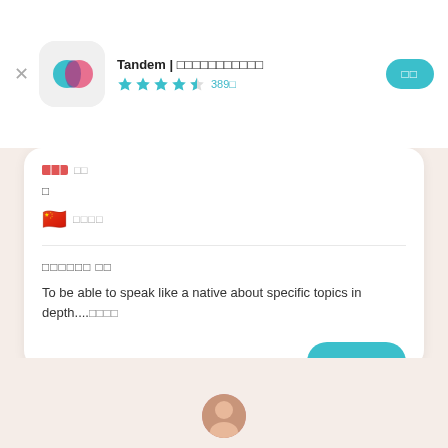Tandem | 언어교환 파트너 찾기 ★★★★☆ 389개
□
🇨🇳 □□□□
□□□□□□ □□
To be able to speak like a native about specific topics in depth....□□□□
□□□□